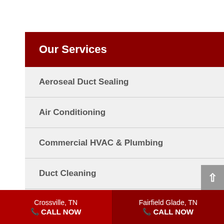Our Services
Aeroseal Duct Sealing
Air Conditioning
Commercial HVAC & Plumbing
Duct Cleaning
Ductless AC
Crossville, TN CALL NOW | Fairfield Glade, TN CALL NOW